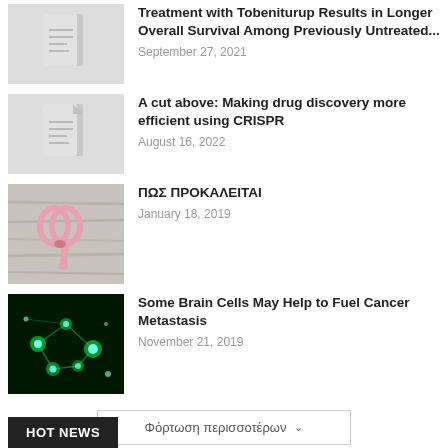Treatment with Tobeniturup Results in Longer Overall Survival Among Previously Untreated... — September 27, 2021
A cut above: Making drug discovery more efficient using CRISPR — August 16, 2022
ΠΩΣ ΠΡΟΚΑΛΕΙΤΑΙ — January 18, 2019
Some Brain Cells May Help to Fuel Cancer Metastasis — November 21, 2019
Φόρτωση περισσοτέρων
HOT NEWS